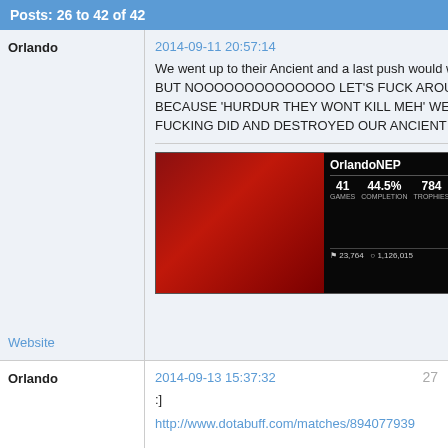Posts: 26 to 42 of 42
Orlando
2014-09-11 20:57:14
26
We went up to their Ancient and a last push would win the game. BUT NOOOOOOOOOOOOOO LET'S FUCK AROUND SOLO BECAUSE 'HURDUR THEY WONT KILL MEH' WELL THEY FUCKING DID AND DESTROYED OUR ANCIENT YOU IDIOTS.
[Figure (screenshot): PSN profile card for OrlandoNEP showing 41 games, 44.5% completion, 784 trophies, 209 platinum, stats: 5, 53, 140, 586, 19,260 Points, 23,764, 1,126,015]
Website
Orlando
2014-09-13 15:37:32
27
:]
http://www.dotabuff.com/matches/894077939
[Figure (screenshot): Partial PSN profile card for OrlandoNEP showing 41 games, 44.5%, 784, 209]